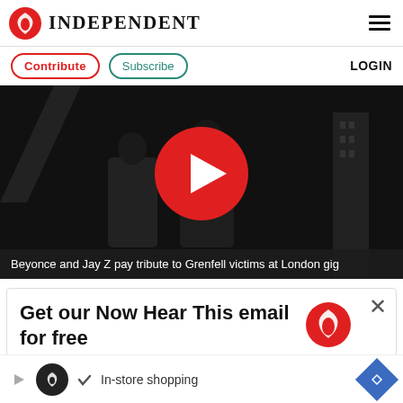INDEPENDENT
Contribute  Subscribe  LOGIN
[Figure (screenshot): Dark video thumbnail showing two figures on stage with a large red play button overlay. Caption reads: Beyonce and Jay Z pay tribute to Grenfell victims at London gig]
Beyonce and Jay Z pay tribute to Grenfell victims at London gig
Get our Now Hear This email for free
[Figure (logo): Independent eagle logo icon in red circle]
[Figure (infographic): Advertisement bar with In-store shopping text and navigation icons]